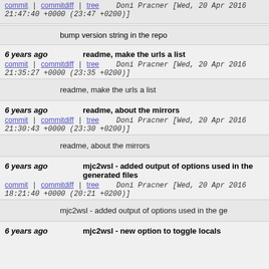commit | commitdiff | tree   Doni Pracner [Wed, 20 Apr 2016 21:47:40 +0000 (23:47 +0200)]
bump version string in the repo
6 years ago   readme, make the urls a list
commit | commitdiff | tree   Doni Pracner [Wed, 20 Apr 2016 21:35:27 +0000 (23:35 +0200)]
readme, make the urls a list
6 years ago   readme, about the mirrors
commit | commitdiff | tree   Doni Pracner [Wed, 20 Apr 2016 21:30:43 +0000 (23:30 +0200)]
readme, about the mirrors
6 years ago   mjc2wsl - added output of options used in the generated files
commit | commitdiff | tree   Doni Pracner [Wed, 20 Apr 2016 18:21:40 +0000 (20:21 +0200)]
mjc2wsl - added output of options used in the ge
6 years ago   mjc2wsl - new option to toggle locals